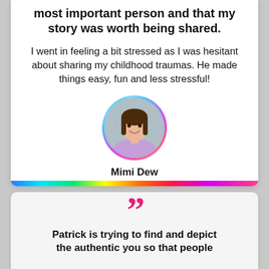most important person and that my story was worth being shared.
I went in feeling a bit stressed as I was hesitant about sharing my childhood traumas. He made things easy, fun and less stressful!
[Figure (photo): Circular profile photo of Mimi Dew with a colorful gradient border (blue to pink rainbow), showing a smiling woman with long dark hair wearing a purple top.]
Mimi Dew
Patrick is trying to find and depict the authentic you so that people